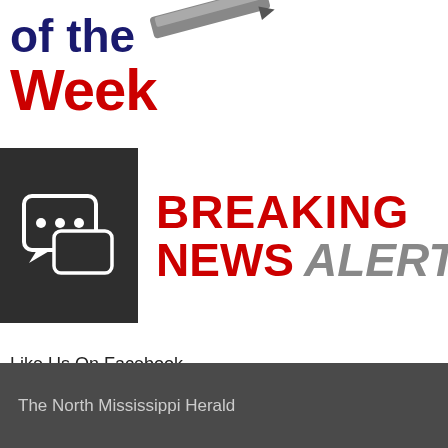[Figure (logo): Partial logo showing 'of the Week' text in navy/red stylized font with a pen/key graphic element]
[Figure (logo): Breaking News Alerts banner: dark grey box with white chat bubble icons on left, 'BREAKING NEWS ALERTS' text in red and grey on right]
Like Us On Facebook
The North Mississippi Herald